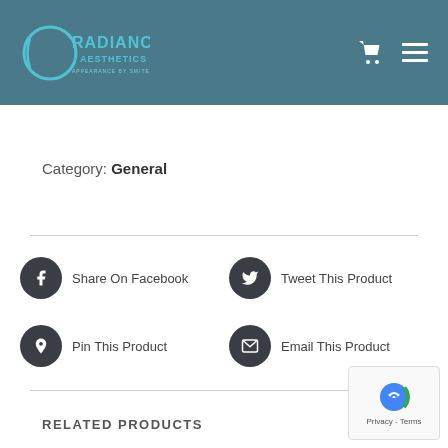[Figure (logo): Radiance Aesthetics logo with circular graphic and text 'RADIANCE AESTHETICS APPEARANCE BY SMITEC' on teal/slate blue background with cart and menu icons]
Category: General
Share On Facebook
Tweet This Product
Pin This Product
Email This Product
RELATED PRODUCTS